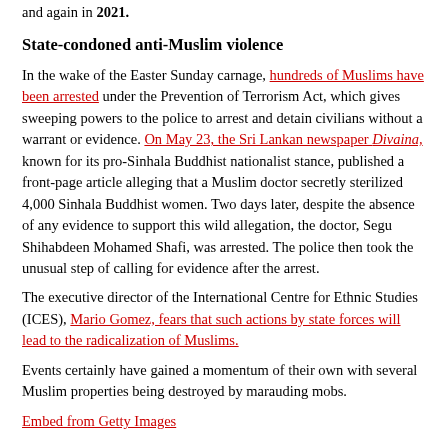and again in 2021.
State-condoned anti-Muslim violence
In the wake of the Easter Sunday carnage, hundreds of Muslims have been arrested under the Prevention of Terrorism Act, which gives sweeping powers to the police to arrest and detain civilians without a warrant or evidence. On May 23, the Sri Lankan newspaper Divaina, known for its pro-Sinhala Buddhist nationalist stance, published a front-page article alleging that a Muslim doctor secretly sterilized 4,000 Sinhala Buddhist women. Two days later, despite the absence of any evidence to support this wild allegation, the doctor, Segu Shihabdeen Mohamed Shafi, was arrested. The police then took the unusual step of calling for evidence after the arrest.
The executive director of the International Centre for Ethnic Studies (ICES), Mario Gomez, fears that such actions by state forces will lead to the radicalization of Muslims.
Events certainly have gained a momentum of their own with several Muslim properties being destroyed by marauding mobs.
Embed from Getty Images